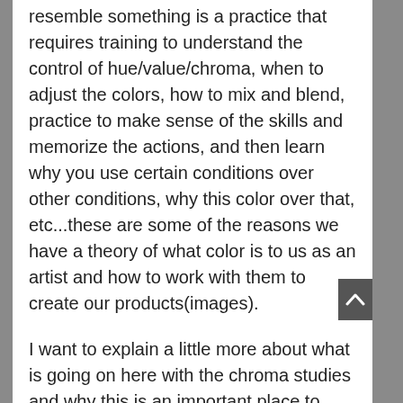resemble something is a practice that requires training to understand the control of hue/value/chroma, when to adjust the colors, how to mix and blend, practice to make sense of the skills and memorize the actions, and then learn why you use certain conditions over other conditions, why this color over that, etc...these are some of the reasons we have a theory of what color is to us as an artist and how to work with them to create our products(images).
I want to explain a little more about what is going on here with the chroma studies and why this is an important place to start your color training.
This is ideally where you would begin your